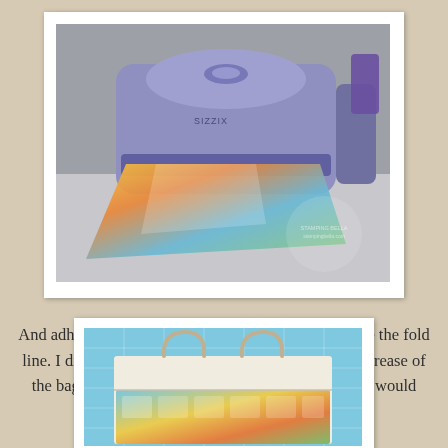[Figure (photo): A purple die-cut machine (Sizzix or similar) with colorful patterned paper being fed through it, sitting on a table with craft supplies in the background.]
And adhered it to the front of my gift bag, right above the fold line. I didn't all my hard work to get smashed in the crease of the bag. And if the recipient want to store the bag it would fold easily.
[Figure (photo): A white gift bag with rope handles sitting on a blue cutting mat, decorated with colorful patterned paper on the front.]